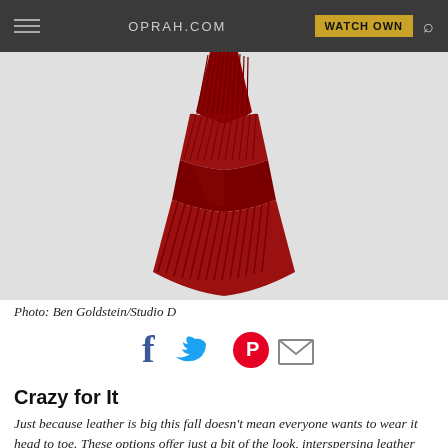OPRAH.COM
[Figure (photo): A red leather and pleated knit dress on a white/gray background, showing the bottom portion of the garment with alternating leather panels and pleated sections in deep red/crimson.]
Photo: Ben Goldstein/Studio D
[Figure (infographic): Social sharing icons: Facebook (blue f), Twitter (blue bird), Pinterest (red circle with P), Email (gray envelope)]
Crazy for It
Just because leather is big this fall doesn't mean everyone wants to wear it head to toe. These options offer just a bit of the look, interspersing leather with